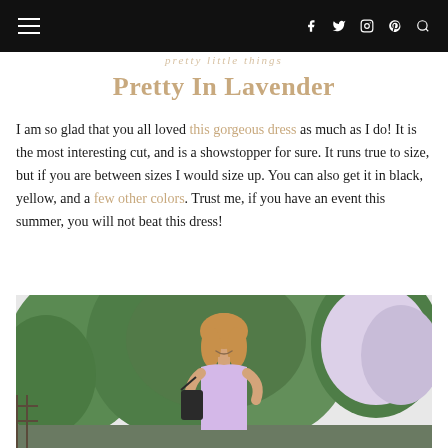Navigation bar with hamburger menu and social icons (Facebook, Twitter, Instagram, Pinterest, Search)
Pretty In Lavender
I am so glad that you all loved this gorgeous dress as much as I do! It is the most interesting cut, and is a showstopper for sure. It runs true to size, but if you are between sizes I would size up. You can also get it in black, yellow, and a few other colors. Trust me, if you have an event this summer, you will not beat this dress!
[Figure (photo): Woman smiling, wearing a lavender halter-neck dress, standing in front of blooming white/lavender flowering bushes and green trees]